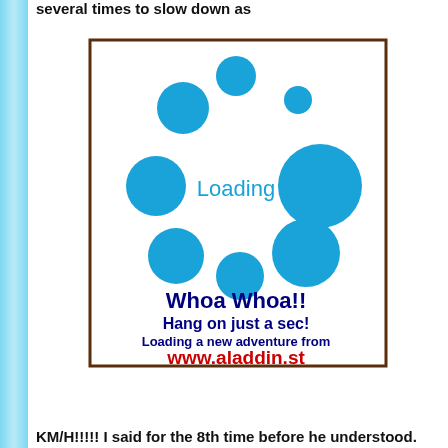several times to slow down as
[Figure (illustration): A loading screen graphic with a white background and brown border. Blue circles of various sizes are scattered around. In the center it reads 'Loading' in blue. Below that in bold dark blue: 'Whoa Whoa!! Hang on just a sec! Loading a new adventure from www.aladdin.st' in red.]
KM/H!!!!! I said for the 8th time before he understood.